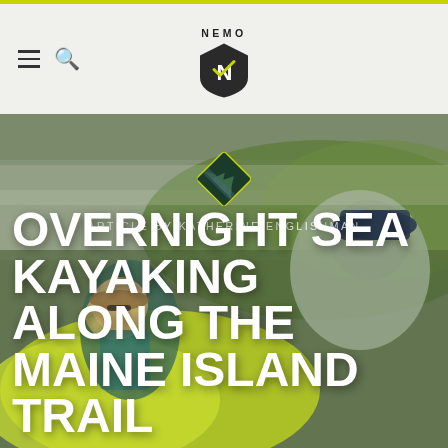NEMO (logo/navigation bar)
[Figure (photo): Two people setting up a bright yellow-green tent on a coastal island with water and vegetation visible in the background. A man in a blue cap and gray shirt is in the foreground; a woman with long blonde hair in a teal shirt is on the left.]
[Figure (logo): Diamond-shaped badge with a nature/mountain scene inside, outlined in yellow-green, positioned above the article byline.]
ARTICLE BY KATHERINE ENGLISHMAN
OVERNIGHT SEA KAYAKING ALONG THE MAINE ISLAND TRAIL